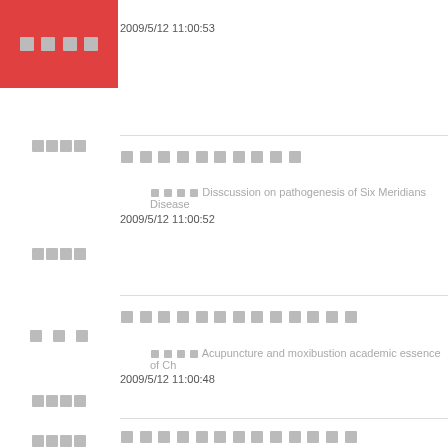2009/5/12 11:00:53
[CJK characters] (sidebar active item)
[CJK characters] (sidebar item 1)
[CJK characters x10]
[CJK] Disscussion on pathogenesis of Six Meridians Disease
2009/5/12 11:00:52
[CJK characters] (sidebar item 2)
[CJK characters] (sidebar item 3 - spaced)
[CJK characters x13]
[CJK] Acupuncture and moxibustion academic essence of Ch...
2009/5/12 11:00:48
[CJK characters] (sidebar item 4)
[CJK characters] (sidebar item 5)
[CJK characters x13]